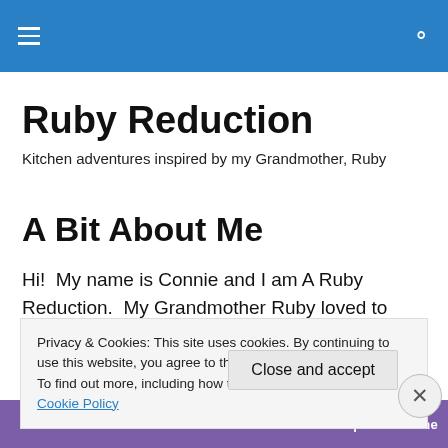Ruby Reduction [navigation header with hamburger menu and search icon]
Ruby Reduction
Kitchen adventures inspired by my Grandmother, Ruby
A Bit About Me
Hi!  My name is Connie and I am A Ruby Reduction.  My Grandmother Ruby loved to cook, bake and share these
Privacy & Cookies: This site uses cookies. By continuing to use this website, you agree to their use.
To find out more, including how to control cookies, see here: Cookie Policy
Close and accept